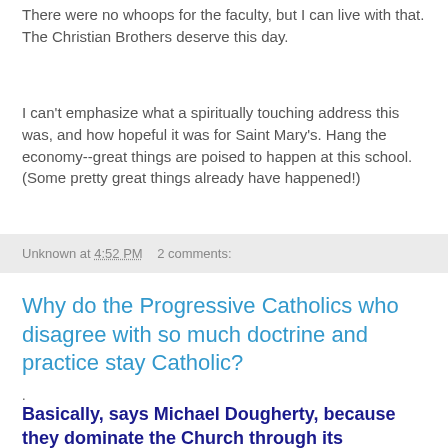There were no whoops for the faculty, but I can live with that. The Christian Brothers deserve this day.
I can't emphasize what a spiritually touching address this was, and how hopeful it was for Saint Mary's. Hang the economy--great things are poised to happen at this school. (Some pretty great things already have happened!)
Unknown at 4:52 PM    2 comments:
Why do the Progressive Catholics who disagree with so much doctrine and practice stay Catholic?
.
Basically, says Michael Dougherty, because they dominate the Church through its bureacracy. If they left, they would have to